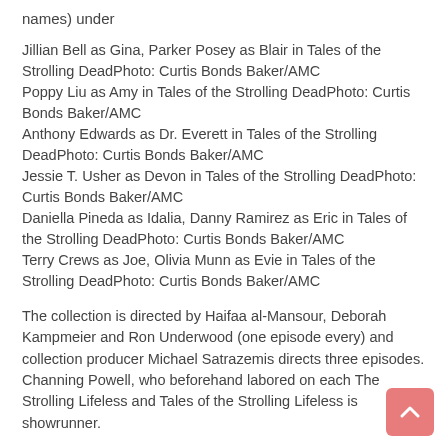names) under
Jillian Bell as Gina, Parker Posey as Blair in Tales of the Strolling DeadPhoto: Curtis Bonds Baker/AMC
Poppy Liu as Amy in Tales of the Strolling DeadPhoto: Curtis Bonds Baker/AMC
Anthony Edwards as Dr. Everett in Tales of the Strolling DeadPhoto: Curtis Bonds Baker/AMC
Jessie T. Usher as Devon in Tales of the Strolling DeadPhoto: Curtis Bonds Baker/AMC
Daniella Pineda as Idalia, Danny Ramirez as Eric in Tales of the Strolling DeadPhoto: Curtis Bonds Baker/AMC
Terry Crews as Joe, Olivia Munn as Evie in Tales of the Strolling DeadPhoto: Curtis Bonds Baker/AMC
The collection is directed by Haifaa al-Mansour, Deborah Kampmeier and Ron Underwood (one episode every) and collection producer Michael Satrazemis directs three episodes. Channing Powell, who beforehand labored on each The Strolling Lifeless and Tales of the Strolling Lifeless is showrunner.